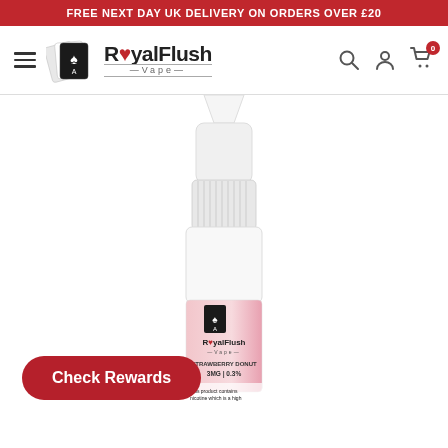FREE NEXT DAY UK DELIVERY ON ORDERS OVER £20
[Figure (logo): RoyalFlush Vape logo with playing cards icon and brand name]
[Figure (photo): White plastic dropper bottle of RoyalFlush Vape e-liquid, Strawberry Donut flavor, 3MG | 0.3%, with branded label showing playing cards logo]
STRAWBERRY DONUT
3MG | 0.3%
This product contains nicotine which is a high
Check Rewards